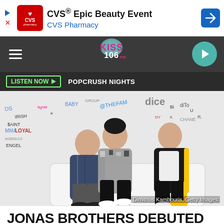[Figure (other): CVS Epic Beauty Event advertisement banner with CVS Pharmacy logo]
[Figure (logo): KISS 106 radio station navigation bar with hamburger menu and play button]
LISTEN NOW ▶  POPCRUSH NIGHTS
[Figure (photo): Three young men (Jonas Brothers) posing on a white couch in front of a graffiti wall. Photo credit: Dimitrios Kambouris, Getty Images]
Dimitrios Kambouris, Getty Images
JONAS BROTHERS DEBUTED